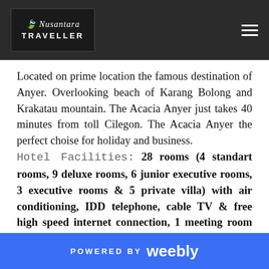Nusantara Traveller
Located on prime location the famous destination of Anyer. Overlooking beach of Karang Bolong and Krakatau mountain. The Acacia Anyer just takes 40 minutes from toll Cilegon. The Acacia Anyer the perfect choise for holiday and business.
Hotel Facilities: 28 rooms (4 standart rooms, 9 deluxe rooms, 6 junior executive rooms, 3 executive rooms & 5 private villa) with air conditioning, IDD telephone, cable TV & free high speed internet connection, 1 meeting room (Royal Jasmine with capacity 30 pax), Safety deposit box, Riverside Fountain Bar, Promenade Cafe (Coffee shop), Pharaoh karaoke room, Swimming pool & kiddy pool, Water sport & kids club, Upper room "Open Air Venue" with capacity
POWERED BY weebly